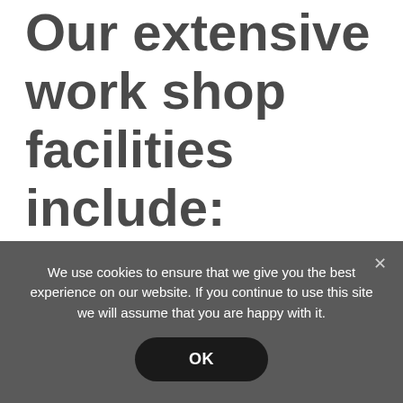Our extensive work shop facilities include:
We use cookies to ensure that we give you the best experience on our website. If you continue to use this site we will assume that you are happy with it.
OK